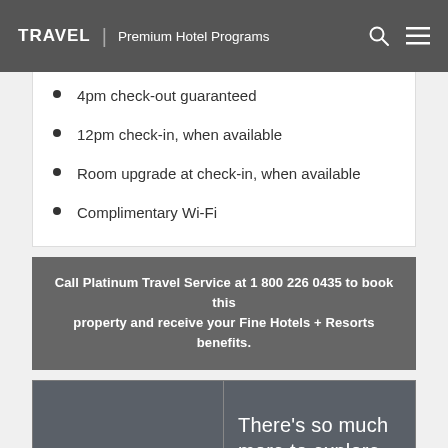TRAVEL | Premium Hotel Programs
4pm check-out guaranteed
12pm check-in, when available
Room upgrade at check-in, when available
Complimentary Wi-Fi
Call Platinum Travel Service at 1 800 226 0435 to book this property and receive your Fine Hotels + Resorts benefits.
[Figure (logo): Loews Hotels logo with text 'There's so much more to explore.']